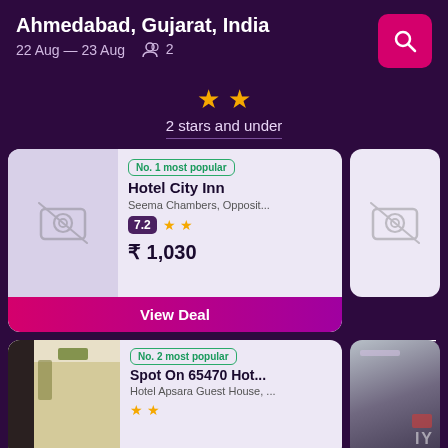Ahmedabad, Gujarat, India
22 Aug — 23 Aug  2
2 stars and under
No. 1 most popular
Hotel City Inn
Seema Chambers, Opposit...
7.2 ★★
₹ 1,030
View Deal
No. 2 most popular
Spot On 65470 Hot...
Hotel Apsara Guest House, ...
★★